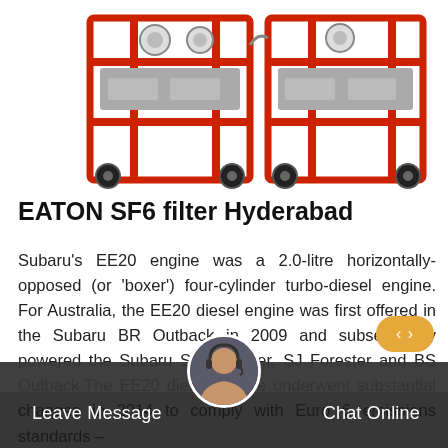[Figure (photo): Red industrial SF6 gas filter equipment on wheels, showing two units side by side with gauges and metal frames]
EATON SF6 filter Hyderabad
Subaru's EE20 engine was a 2.0-litre horizontally-opposed (or 'boxer') four-cylinder turbo-diesel engine. For Australia, the EE20 diesel engine was first offered in the Subaru BR Outback in 2009 and subsequently powered the Subaru SH Forester, SJ Forester and BS Outback.The EE20 diesel engine underwent substantial changes in 2014 to comply with Euro 6 emissions standards –
Get Price
Leave Message
Chat Online